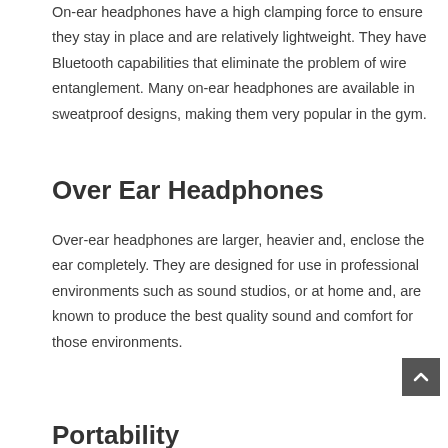On-ear headphones have a high clamping force to ensure they stay in place and are relatively lightweight. They have Bluetooth capabilities that eliminate the problem of wire entanglement. Many on-ear headphones are available in sweatproof designs, making them very popular in the gym.
Over Ear Headphones
Over-ear headphones are larger, heavier and, enclose the ear completely. They are designed for use in professional environments such as sound studios, or at home and, are known to produce the best quality sound and comfort for those environments.
Portability